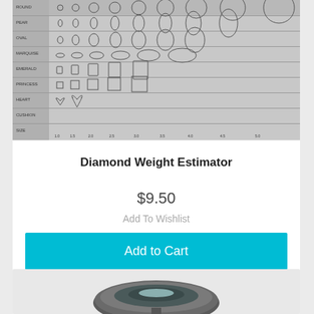[Figure (photo): Diamond weight estimator chart/tool showing various diamond shapes and sizes in rows, printed on a gray reference card]
Diamond Weight Estimator
$9.50
Add To Wishlist
Add to Cart
[Figure (photo): A round lamp or lens-shaped tool on a stand, viewed from above, partially visible at bottom of page]